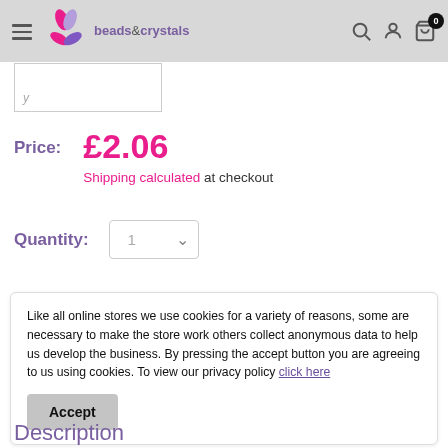beads & crystals
Price: £2.06
Shipping calculated at checkout
Quantity: 1
Like all online stores we use cookies for a variety of reasons, some are necessary to make the store work others collect anonymous data to help us develop the business. By pressing the accept button you are agreeing to us using cookies. To view our privacy policy click here
Accept
Description